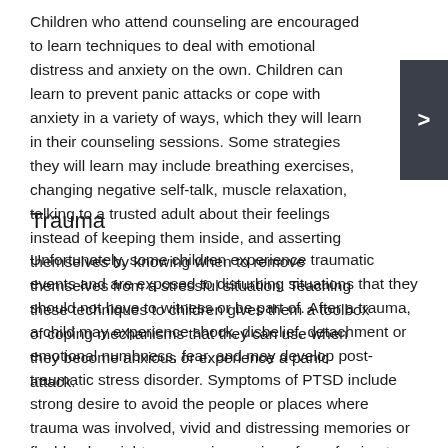Children who attend counseling are encouraged to learn techniques to deal with emotional distress and anxiety on their own. Children can learn to prevent panic attacks or cope with anxiety in a variety of ways, which they will learn in their counseling sessions. Some strategies they will learn may include breathing exercises, changing negative self-talk, muscle relaxation, talking to a trusted adult about their feelings instead of keeping them inside, and asserting themselves by knowing when to remove themselves from a stressful situation. Teaching these techniques to children gives them a toolbox of coping mechanisms that they can use when they become anxious or experience a panic attack.
Trauma
Unfortunately, some children experience traumatic events and are exposed to disturbing situations that they should not have to witness or be part of. After a trauma, a child may experience shock, disbelief, detachment or emotional numbness, fear, and may develop post-traumatic stress disorder. Symptoms of PTSD include strong desire to avoid the people or places where trauma was involved, vivid and distressing memories or flashbacks, nightmares or insomnia or fear of going to sleep, and being easily angered or agitated. Child counseling aims to help children talk about the trauma that they faced, rather than keeping their experiences and emotions inside. Many children who experience trauma